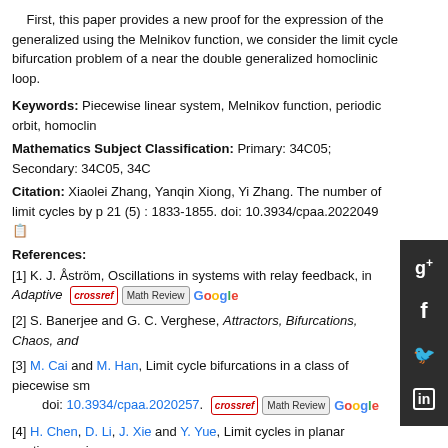First, this paper provides a new proof for the expression of the generalized using the Melnikov function, we consider the limit cycle bifurcation problem of a near the double generalized homoclinic loop.
Keywords: Piecewise linear system, Melnikov function, periodic orbit, homoclinic
Mathematics Subject Classification: Primary: 34C05; Secondary: 34C05, 34C
Citation: Xiaolei Zhang, Yanqin Xiong, Yi Zhang. The number of limit cycles by p 21 (5) : 1833-1855. doi: 10.3934/cpaa.2022049
References:
[1] K. J. Åström, Oscillations in systems with relay feedback, in Adaptive
[2] S. Banerjee and G. C. Verghese, Attractors, Bifurcations, Chaos, and
[3] M. Cai and M. Han, Limit cycle bifurcations in a class of piecewise sm doi: 10.3934/cpaa.2020257.
[4] H. Chen, D. Li, J. Xie and Y. Yue, Limit cycles in planar continuous pi
[5] R. FitzHugh, Impulses and physiological states in theoretical models of nerve
[6] E. Freire, E. Ponce, F. Rodrigo and F. Torres, Bifurcation sets of symmetrical doi: 10.1142/S0218127402005509.
[7] M. Han, Bifurcation Theory of Limit Cycles, Science Press, Beijing, 2013.